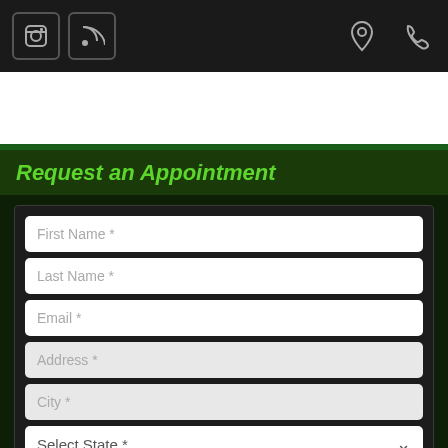[Figure (screenshot): Mobile website screenshot for Water Solutions Sprinkler Service showing top black toolbar with camera and RSS icons on left, location pin and phone icons on right]
[Figure (logo): Water Solutions Sprinkler Service logo with blue water drop mascot, blue 'Water' text and white 'Solutions' text on green navigation bar]
Request an Appointment
First Name *
Last Name *
Email *
Address *
City *
Select State *
Zip *
Phone *